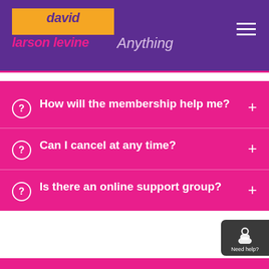[Figure (logo): David Larson Levine logo with orange box and pink text on purple background, with 'Anything' subtitle]
How will the membership help me?
Can I cancel at any time?
Is there an online support group?